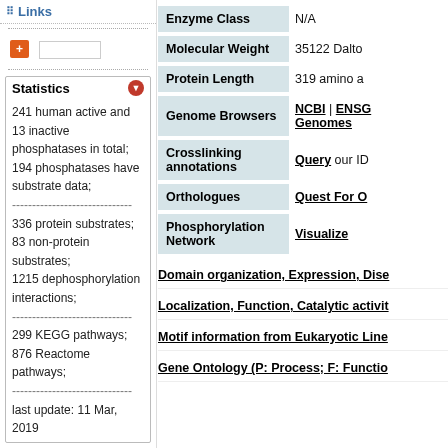Links
Statistics panel: 241 human active and 13 inactive phosphatases in total; 194 phosphatases have substrate data; 336 protein substrates; 83 non-protein substrates; 1215 dephosphorylation interactions; 299 KEGG pathways; 876 Reactome pathways; last update: 11 Mar, 2019
| Property | Value |
| --- | --- |
| Enzyme Class | N/A |
| Molecular Weight | 35122 Dalto... |
| Protein Length | 319 amino a... |
| Genome Browsers | NCBI | ENSG... Genomes |
| Crosslinking annotations | Query our ID... |
| Orthologues | Quest For O... |
| Phosphorylation Network | Visualize |
Domain organization, Expression, Dise...
Localization, Function, Catalytic activit...
Motif information from Eukaryotic Line...
Gene Ontology (P: Process; F: Functio...